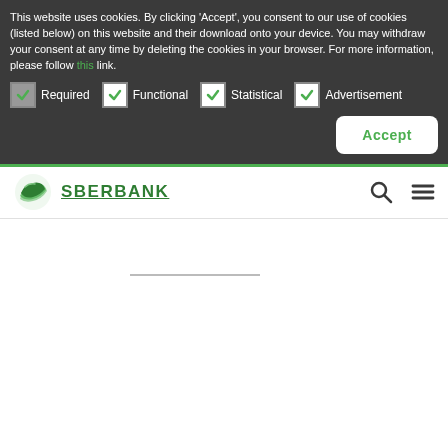This website uses cookies. By clicking 'Accept', you consent to our use of cookies (listed below) on this website and their download onto your device. You may withdraw your consent at any time by deleting the cookies in your browser. For more information, please follow this link.
Required | Functional | Statistical | Advertisement
[Figure (screenshot): Accept button (white rounded rectangle with green text)]
[Figure (logo): Sberbank logo: green layered leaf icon with SBERBANK text in green]
[Figure (screenshot): Navigation header with search icon and hamburger menu icon]